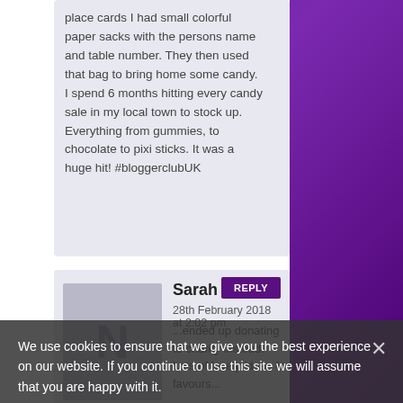place cards I had small colorful paper sacks with the persons name and table number. They then used that bag to bring home some candy. I spend 6 months hitting every candy sale in my local town to stock up. Everything from gummies, to chocolate to pixi sticks. It was a huge hit! #bloggerclubUK
Sarah
28th February 2018 at 2:02 pm
...ended up donating to charity instead. Lots of lovely ideas for favours...
We use cookies to ensure that we give you the best experience on our website. If you continue to use this site we will assume that you are happy with it.